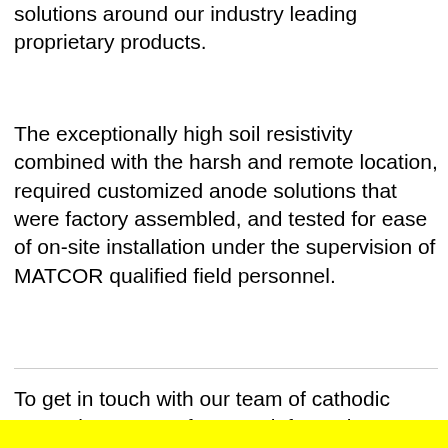solutions around our industry leading proprietary products.
The exceptionally high soil resistivity combined with the harsh and remote location, required customized anode solutions that were factory assembled, and tested for ease of on-site installation under the supervision of MATCOR qualified field personnel.
To get in touch with our team of cathodic protection experts for more information, to ask a question or get a quote, please click below. We will respond by phone or email within 24 hours.
[Figure (other): Yellow banner/button bar at the bottom of the page]